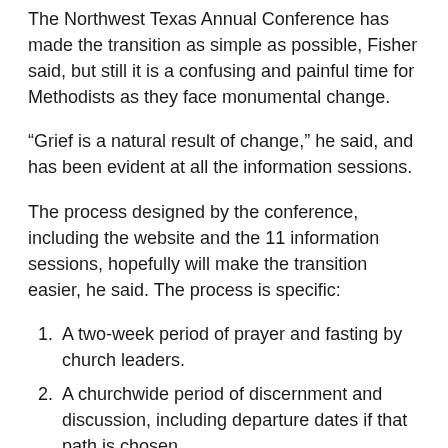The Northwest Texas Annual Conference has made the transition as simple as possible, Fisher said, but still it is a confusing and painful time for Methodists as they face monumental change.
“Grief is a natural result of change,” he said, and has been evident at all the information sessions.
The process designed by the conference, including the website and the 11 information sessions, hopefully will make the transition easier, he said. The process is specific:
A two-week period of prayer and fasting by church leaders.
A churchwide period of discernment and discussion, including departure dates if that path is chosen.
Churchwide period of prayer and fasting